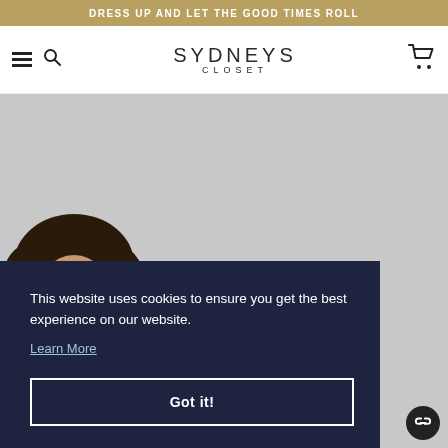DRESS UP AND LET THE GOOD TIMES ROLL
SYDNEYS CLOSET
[Figure (photo): A plus-size woman with curly dark hair smiling, wearing a dark sleeveless dress with a necklace, photographed against a light gray background. This is a fashion/clothing website hero image for Sydney's Closet.]
This website uses cookies to ensure you get the best experience on our website.
Learn More
Got it!